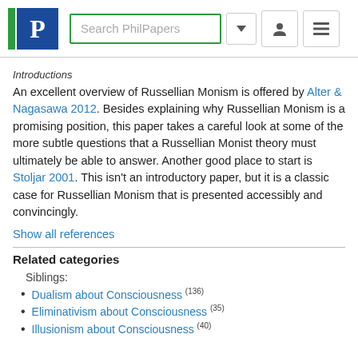[Figure (logo): PhilPapers logo with green bar, blue P box, search field, dropdown arrow, person icon, and hamburger menu icon]
Introductions
An excellent overview of Russellian Monism is offered by Alter & Nagasawa 2012. Besides explaining why Russellian Monism is a promising position, this paper takes a careful look at some of the more subtle questions that a Russellian Monist theory must ultimately be able to answer. Another good place to start is Stoljar 2001. This isn't an introductory paper, but it is a classic case for Russellian Monism that is presented accessibly and convincingly.
Show all references
Related categories
Siblings:
Dualism about Consciousness (136)
Eliminativism about Consciousness (35)
Illusionism about Consciousness (40)